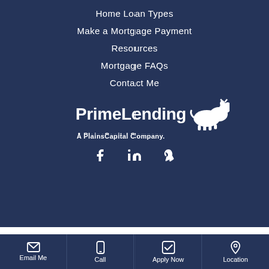Home Loan Types
Make a Mortgage Payment
Resources
Mortgage FAQs
Contact Me
[Figure (logo): PrimeLending A PlainsCapital Company logo with white bison icon]
[Figure (infographic): Social media icons: Facebook, LinkedIn, Yelp]
Email Me | Call | Apply Now | Location